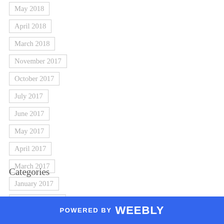May 2018
April 2018
March 2018
November 2017
October 2017
July 2017
June 2017
May 2017
April 2017
March 2017
January 2017
December 2016
Categories
POWERED BY weebly